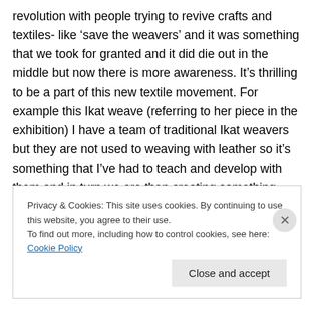revolution with people trying to revive crafts and textiles- like 'save the weavers' and it was something that we took for granted and it did die out in the middle but now there is more awareness. It's thrilling to be a part of this new textile movement. For example this Ikat weave (referring to her piece in the exhibition) I have a team of traditional Ikat weavers but they are not used to weaving with leather so it's something that I've had to teach and develop with them and in turn we are then creating something completely new.
Privacy & Cookies: This site uses cookies. By continuing to use this website, you agree to their use. To find out more, including how to control cookies, see here: Cookie Policy